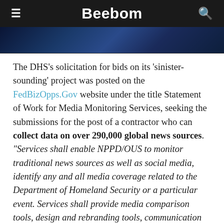Beebom
[Figure (photo): Partial photo strip showing a dark blue image, likely a person or scene, cropped at top]
The DHS's solicitation for bids on its 'sinister-sounding' project was posted on the FedBizOpps.Gov website under the title Statement of Work for Media Monitoring Services, seeking the submissions for the post of a contractor who can collect data on over 290,000 global news sources. “Services shall enable NPPD/OUS to monitor traditional news sources as well as social media, identify any and all media coverage related to the Department of Homeland Security or a particular event. Services shall provide media comparison tools, design and rebranding tools, communication tools, and the ability to identify top